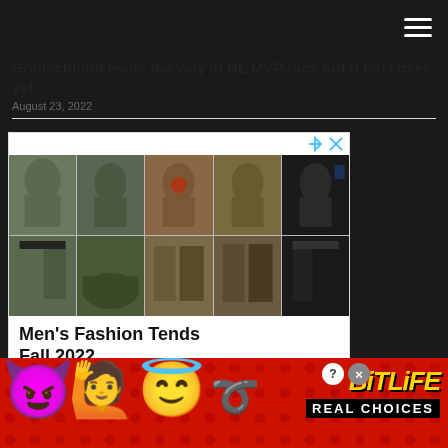Goldschmidt leads the way in NL MVP race but it isn't over yet
August 23, 2022
[Figure (photo): Advertisement for Men's Fashion Tends Fall 2022 by Cotosen showing tactical shirts, cargo shorts, and boots in a grid layout]
[Figure (photo): BitLife Real Choices mobile game advertisement banner with emoji characters on a red background]